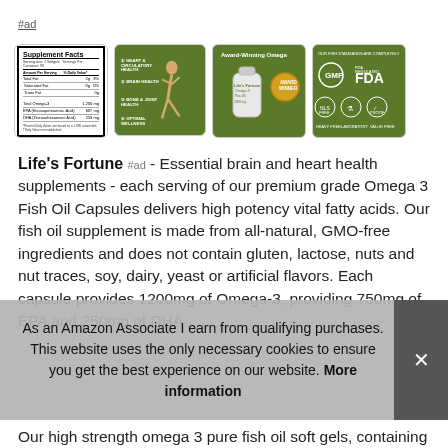#ad
[Figure (photo): Four product images in a row: supplement facts label, man running with green health benefits text, award-winning omega-3 fish oil bottle, FDA GMP certified badges on green background]
Life's Fortune #ad - Essential brain and heart health supplements - each serving of our premium grade Omega 3 Fish Oil Capsules delivers high potency vital fatty acids. Our fish oil supplement is made from all-natural, GMO-free ingredients and does not contain gluten, lactose, nuts and nut traces, soy, dairy, yeast or artificial flavors. Each capsule provides 1200mg of Omega-3, providing 750mg of EPA and 250mg of DHA
As an Amazon Associate I earn from qualifying purchases. This website uses the only necessary cookies to ensure you get the best experience on our website. More information
Our high strength omega 3 pure fish oil soft gels, containing